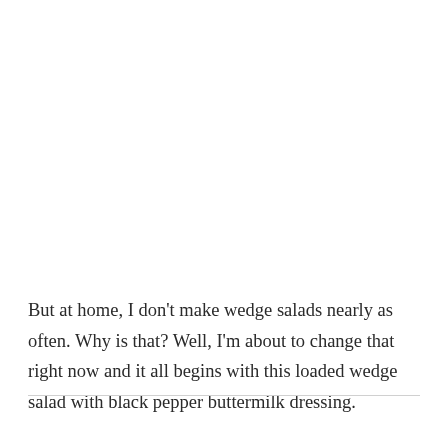But at home, I don't make wedge salads nearly as often. Why is that? Well, I'm about to change that right now and it all begins with this loaded wedge salad with black pepper buttermilk dressing.